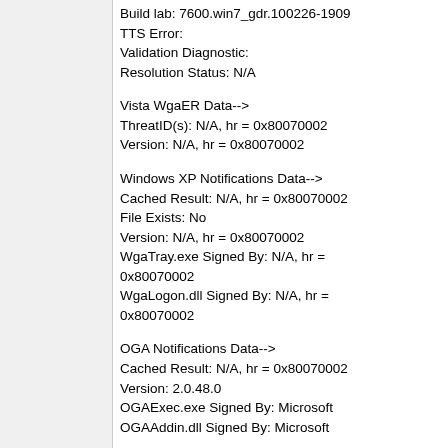Build lab: 7600.win7_gdr.100226-1909
TTS Error:
Validation Diagnostic:
Resolution Status: N/A
Vista WgaER Data-->
ThreatID(s): N/A, hr = 0x80070002
Version: N/A, hr = 0x80070002
Windows XP Notifications Data-->
Cached Result: N/A, hr = 0x80070002
File Exists: No
Version: N/A, hr = 0x80070002
WgaTray.exe Signed By: N/A, hr = 0x80070002
WgaLogon.dll Signed By: N/A, hr = 0x80070002
OGA Notifications Data-->
Cached Result: N/A, hr = 0x80070002
Version: 2.0.48.0
OGAExec.exe Signed By: Microsoft
OGAAddin.dll Signed By: Microsoft
OGA Data-->
Office Status: 100 Genuine
Microsoft Office Home and Student 2007 - 100 Genuine
OGA Version: Registered, 2.0.48.0